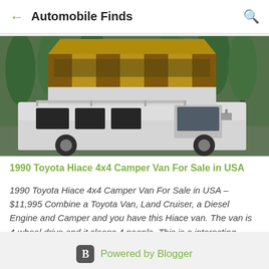Automobile Finds
[Figure (photo): 1990 Toyota Hiace 4x4 Camper Van with pop-up roof tent, white exterior, parked outdoors in a wooded area]
1990 Toyota Hiace 4x4 Camper Van For Sale in USA
1990 Toyota Hiace 4x4 Camper Van For Sale in USA – $11,995 Combine a Toyota Van, Land Cruiser, a Diesel Engine and Camper and you have this Hiace van. The van is 4-wheel drive and it sleeps 4 people. This is a interesting alternative to a ...
Powered by Blogger